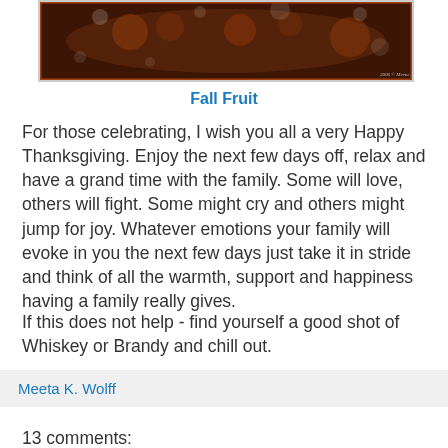[Figure (photo): A dark macro photo of fall fruit/berries on a branch, with a watermark '2006 © Meeta Albrecht' at the bottom right]
Fall Fruit
For those celebrating, I wish you all a very Happy Thanksgiving. Enjoy the next few days off, relax and have a grand time with the family. Some will love, others will fight. Some might cry and others might jump for joy. Whatever emotions your family will evoke in you the next few days just take it in stride and think of all the warmth, support and happiness having a family really gives.
If this does not help - find yourself a good shot of Whiskey or Brandy and chill out.
Happy Thanksgiving!
Meeta K. Wolff
13 comments: